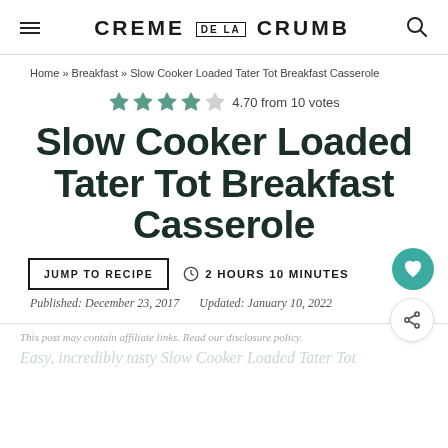CREME DE LA CRUMB
Home » Breakfast » Slow Cooker Loaded Tater Tot Breakfast Casserole
4.70 from 10 votes
Slow Cooker Loaded Tater Tot Breakfast Casserole
JUMP TO RECIPE  2 HOURS 10 MINUTES
Published: December 23, 2017  Updated: January 10, 2022
This post may contain affiliate links. Read our disclosure policy.
Easy, incredibly tasty Slow Cooker Loaded Tater Tot